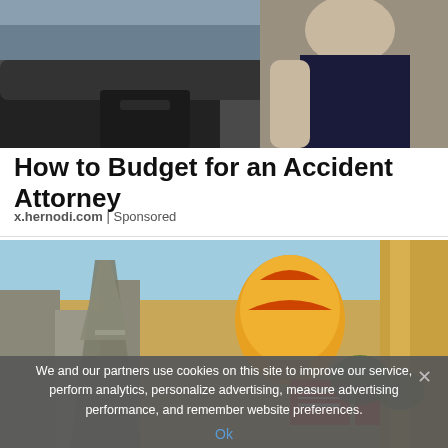[Figure (photo): Photo of car interior, person in driver seat, aerial/side view]
How to Budget for an Accident Attorney
x.hernodi.com | Sponsored
[Figure (photo): Photo of Las Vegas strip with Eiffel Tower replica, hot air balloon, woman looking sideways, golden building column on right]
We and our partners use cookies on this site to improve our service, perform analytics, personalize advertising, measure advertising performance, and remember website preferences.
Ok